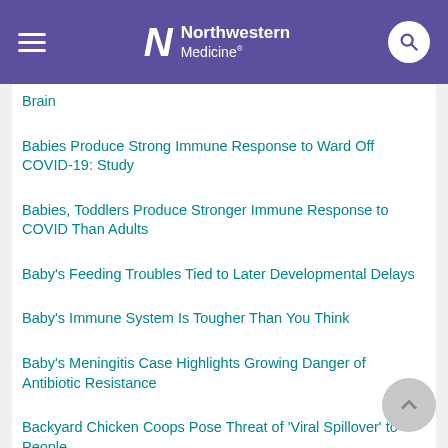Northwestern Medicine
Brain
Babies Produce Strong Immune Response to Ward Off COVID-19: Study
Babies, Toddlers Produce Stronger Immune Response to COVID Than Adults
Baby's Feeding Troubles Tied to Later Developmental Delays
Baby's Immune System Is Tougher Than You Think
Baby's Meningitis Case Highlights Growing Danger of Antibiotic Resistance
Backyard Chicken Coops Pose Threat of 'Viral Spillover' to People
Backyard Therapy...